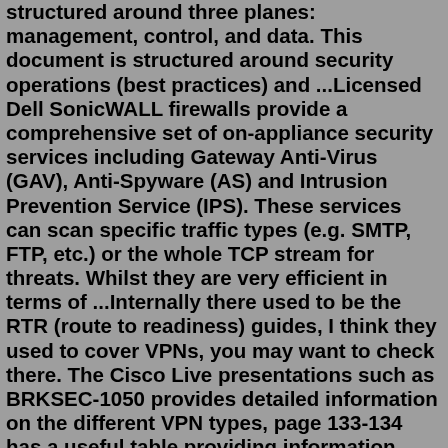structured around three planes: management, control, and data. This document is structured around security operations (best practices) and ...Licensed Dell SonicWALL firewalls provide a comprehensive set of on-appliance security services including Gateway Anti-Virus (GAV), Anti-Spyware (AS) and Intrusion Prevention Service (IPS). These services can scan specific traffic types (e.g. SMTP, FTP, etc.) or the whole TCP stream for threats. Whilst they are very efficient in terms of ...Internally there used to be the RTR (route to readiness) guides, I think they used to cover VPNs, you may want to check there. The Cisco Live presentations such as BRKSEC-1050 provides detailed information on the different VPN types, page 133-134 has a useful table providing information when to use each type of VPN and what features are available.Jul 10, 2009 · IPSec VPN – Best practices. This article provides some Fortinet recommendations for best practices when setting up IPSec VPN environments. (1) Do not setup a VPN IPSec policy using a destination of all zeros.